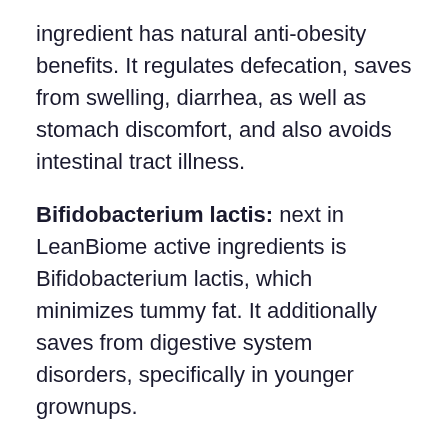ingredient has natural anti-obesity benefits. It regulates defecation, saves from swelling, diarrhea, as well as stomach discomfort, and also avoids intestinal tract illness.
Bifidobacterium lactis: next in LeanBiome active ingredients is Bifidobacterium lactis, which minimizes tummy fat. It additionally saves from digestive system disorders, specifically in younger grownups.
Lactobacillus Rhamnosus: this pressure advertises weight loss and eliminates fat from the problematic areas, including the stomach, upper legs, hips, and arms. It additionally saves from reabsorption of fat and also putting on weight